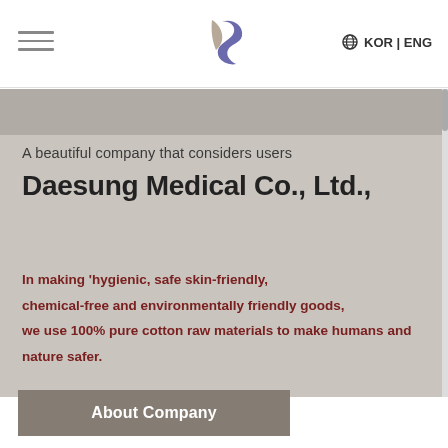KOR | ENG
[Figure (logo): Daesung Medical logo: stylized 'S' shape in taupe/purple colors]
A beautiful company that considers users
Daesung Medical Co., Ltd.,
In making 'hygienic, safe skin-friendly, chemical-free and environmentally friendly goods, we use 100% pure cotton raw materials to make humans and nature safer.
About Company